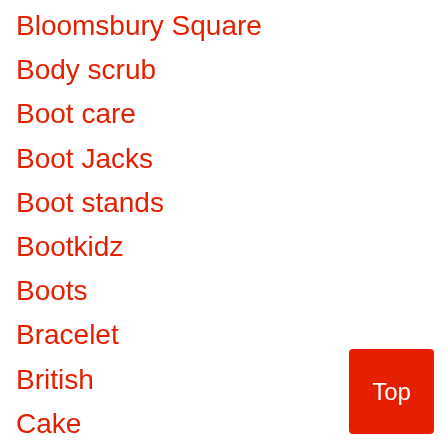Bloomsbury Square
Body scrub
Boot care
Boot Jacks
Boot stands
Bootkidz
Boots
Bracelet
British
Cake
Cape Town
card